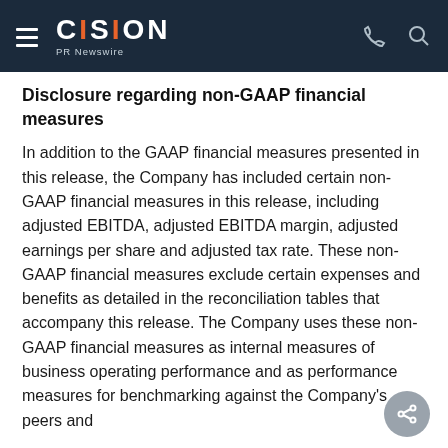CISION PR Newswire
Disclosure regarding non-GAAP financial measures
In addition to the GAAP financial measures presented in this release, the Company has included certain non-GAAP financial measures in this release, including adjusted EBITDA, adjusted EBITDA margin, adjusted earnings per share and adjusted tax rate. These non-GAAP financial measures exclude certain expenses and benefits as detailed in the reconciliation tables that accompany this release. The Company uses these non-GAAP financial measures as internal measures of business operating performance and as performance measures for benchmarking against the Company's peers and